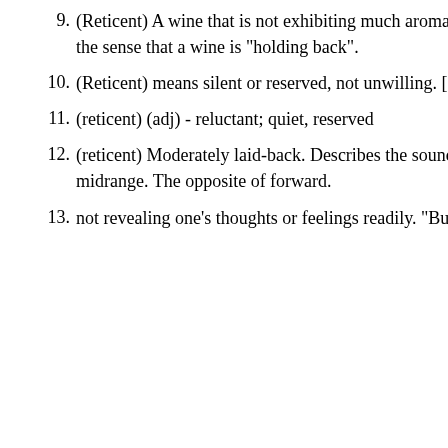9. (Reticent) A wine that is not exhibiting much aroma or the sense that a wine is "holding back".
10. (Reticent) means silent or reserved, not unwilling. [So,
11. (reticent) (adj) - reluctant; quiet, reserved
12. (reticent) Moderately laid-back. Describes the sound of midrange. The opposite of forward.
13. not revealing one's thoughts or feelings readily. "But th